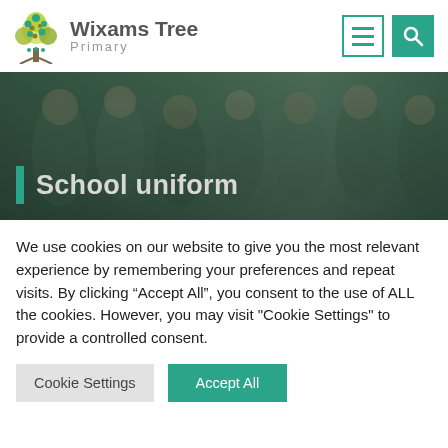Wixams Tree Primary
[Figure (photo): School hero banner showing children in school uniform with 'School uniform' title overlay]
School uniform
We use cookies on our website to give you the most relevant experience by remembering your preferences and repeat visits. By clicking “Accept All”, you consent to the use of ALL the cookies. However, you may visit "Cookie Settings" to provide a controlled consent.
Cookie Settings | Accept All